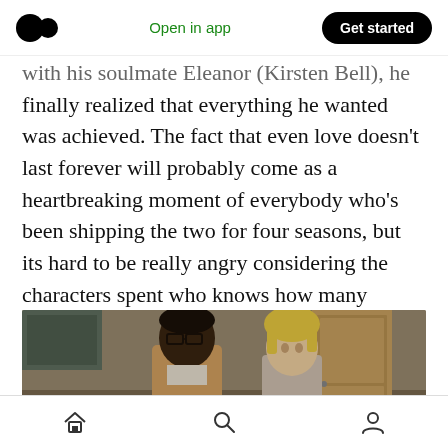Open in app | Get started
with his soulmate Eleanor (Kirsten Bell), he finally realized that everything he wanted was achieved. The fact that even love doesn't last forever will probably come as a heartbreaking moment of everybody who's been shipping the two for four seasons, but its hard to be really angry considering the characters spent who knows how many Jeremy Beremy's together.
[Figure (photo): Screenshot from The Good Place TV show showing two characters — a Black man with glasses wearing a light-colored suit, and a blonde woman — sitting or standing in an interior setting with a wooden door visible in the background.]
Home | Search | Profile navigation icons